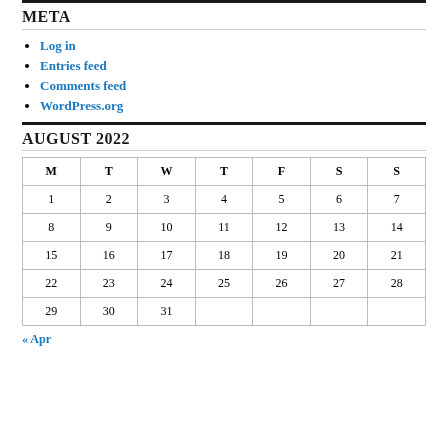META
Log in
Entries feed
Comments feed
WordPress.org
AUGUST 2022
| M | T | W | T | F | S | S |
| --- | --- | --- | --- | --- | --- | --- |
| 1 | 2 | 3 | 4 | 5 | 6 | 7 |
| 8 | 9 | 10 | 11 | 12 | 13 | 14 |
| 15 | 16 | 17 | 18 | 19 | 20 | 21 |
| 22 | 23 | 24 | 25 | 26 | 27 | 28 |
| 29 | 30 | 31 |  |  |  |  |
« Apr